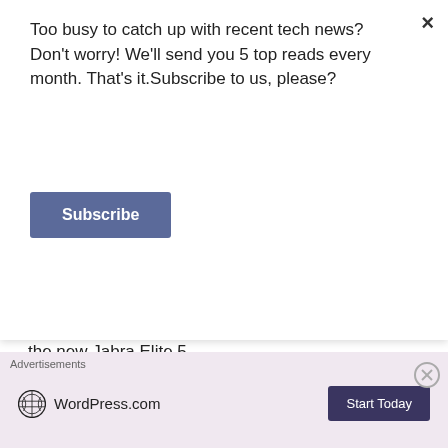Too busy to catch up with recent tech news? Don't worry! We'll send you 5 top reads every month. That's it.Subscribe to us, please?
Subscribe
Call, connect and listen to music in confidence with the new Jabra Elite 5
SCS and SID signs MOU to increase diversity and digital quotient of boards
Rakuten Kobo introduces a more eco-conscious way to read and listen with Kobo Clara 2E
Advertisements
[Figure (logo): WordPress.com logo with 'Start Today' button on pink/lavender background advertisement banner]